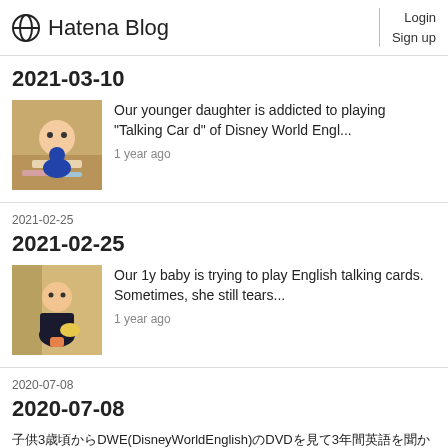Hatena Blog  Login  Sign up
2021-03-10
[Figure (photo): Child sitting on floor playing with colorful toys/cards]
Our younger daughter is addicted to playing "Talking Card" of Disney World Engl...
1 year ago
2021-02-25
2021-02-25
[Figure (photo): Baby in dark outfit playing with a toy on wooden floor]
Our 1y baby is trying to play English talking cards. Sometimes, she still tears...
1 year ago
2020-07-08
2020-07-08
子供3歳頃からDWE(DisneyWorldEnglish)のDVDを見て3年間英語を聞かせ続けてきた結果についてTE(子供の…
2 years ago